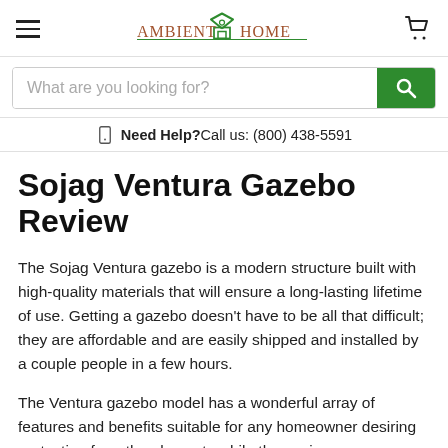AMBIENT HOME — navigation header with hamburger menu, logo, and cart icon
What are you looking for? [search bar]
Need Help? Call us: (800) 438-5591
Sojag Ventura Gazebo Review
The Sojag Ventura gazebo is a modern structure built with high-quality materials that will ensure a long-lasting lifetime of use. Getting a gazebo doesn't have to be all that difficult; they are affordable and are easily shipped and installed by a couple people in a few hours.
The Ventura gazebo model has a wonderful array of features and benefits suitable for any homeowner desiring protection from the elements while they enjoy company or solitude in the